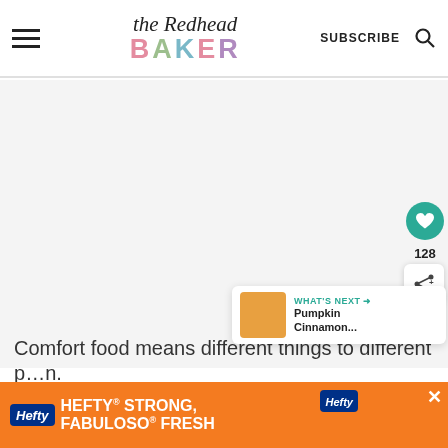the Redhead BAKER — SUBSCRIBE
[Figure (screenshot): Main content image area — large white/light gray placeholder image area for a recipe blog post]
[Figure (infographic): What's Next panel showing Pumpkin Cinnamon... thumbnail with teal arrow label]
Comfort food means different things to different p...n.
[Figure (infographic): Hefty advertisement banner: HEFTY STRONG, FABULOSO FRESH]